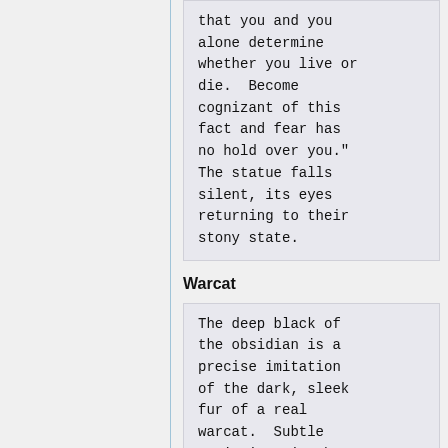that you and you alone determine whether you live or die.  Become cognizant of this fact and fear has no hold over you." The statue falls silent, its eyes returning to their stony state.
Warcat
The deep black of the obsidian is a precise imitation of the dark, sleek fur of a real warcat.  Subtle striations in the rock lend an illusion of the wide, tapering grey stripes of the